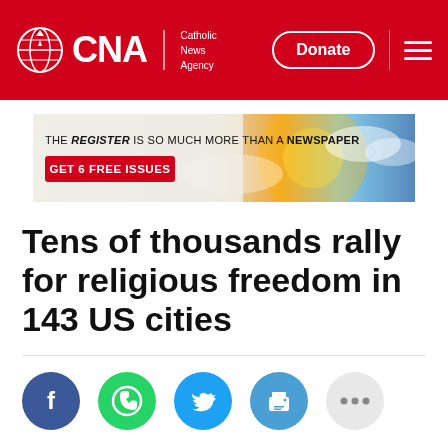CNA | Catholic News Agency
[Figure (screenshot): Advertisement banner: THE REGISTER IS SO MUCH MORE THAN A NEWSPAPER - GET 6 FREE ISSUES]
Tens of thousands rally for religious freedom in 143 US cities
[Figure (infographic): Social sharing icons: Facebook, WhatsApp, Twitter, Print, More (...)]